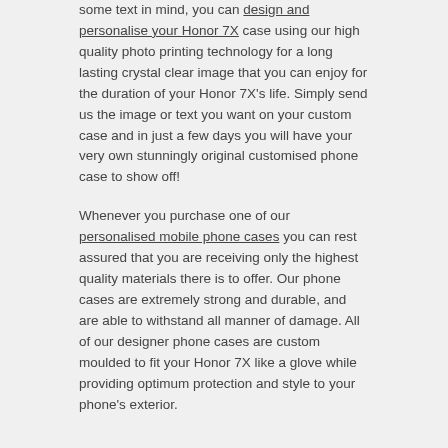some text in mind, you can design and personalise your Honor 7X case using our high quality photo printing technology for a long lasting crystal clear image that you can enjoy for the duration of your Honor 7X's life. Simply send us the image or text you want on your custom case and in just a few days you will have your very own stunningly original customised phone case to show off!
Whenever you purchase one of our personalised mobile phone cases you can rest assured that you are receiving only the highest quality materials there is to offer. Our phone cases are extremely strong and durable, and are able to withstand all manner of damage. All of our designer phone cases are custom moulded to fit your Honor 7X like a glove while providing optimum protection and style to your phone's exterior.